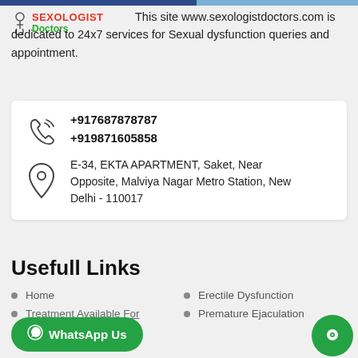[Figure (logo): Sexologist Doctors logo with stethoscope icon, red SEXOLOGIST text and green Doctors text]
This site www.sexologistdoctors.com is dedicated to 24x7 services for Sexual dysfunction queries and appointment.
+917687878787
+919871605858
E-34, EKTA APARTMENT, Saket, Near Opposite, Malviya Nagar Metro Station, New Delhi - 110017
Usefull Links
Home
Treatment Available For
Erectile Dysfunction
Premature Ejaculation